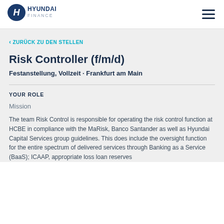[Figure (logo): Hyundai Finance logo with oval H emblem and text HYUNDAI FINANCE]
Risk Controller (f/m/d)
Festanstellung, Vollzeit · Frankfurt am Main
< ZURÜCK ZU DEN STELLEN
YOUR ROLE
Mission
The team Risk Control is responsible for operating the risk control function at HCBE in compliance with the MaRisk, Banco Santander as well as Hyundai Capital Services group guidelines. This does include the oversight function for the entire spectrum of delivered services through Banking as a Service (BaaS); ICAAP, appropriate loss loan reserves